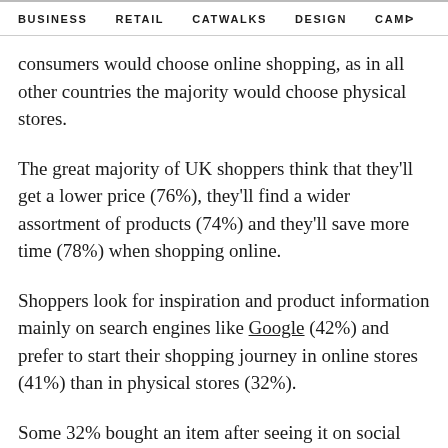BUSINESS   RETAIL   CATWALKS   DESIGN   CAMI >
consumers would choose online shopping, as in all other countries the majority would choose physical stores.
The great majority of UK shoppers think that they'll get a lower price (76%), they'll find a wider assortment of products (74%) and they'll save more time (78%) when shopping online.
Shoppers look for inspiration and product information mainly on search engines like Google (42%) and prefer to start their shopping journey in online stores (41%) than in physical stores (32%).
Some 32% bought an item after seeing it on social media during Q1. Among those that bought something, 59% did